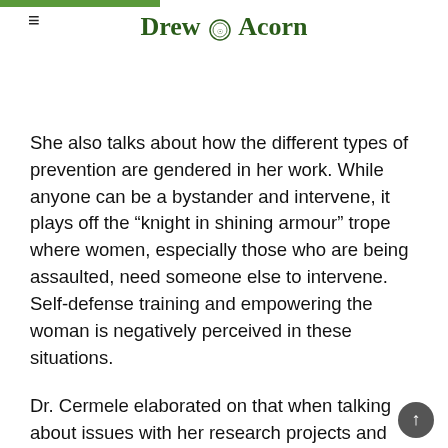Drew Acorn
She also talks about how the different types of prevention are gendered in her work. While anyone can be a bystander and intervene, it plays off the “knight in shining armour” trope where women, especially those who are being assaulted, need someone else to intervene. Self-defense training and empowering the woman is negatively perceived in these situations.
Dr. Cermele elaborated on that when talking about issues with her research projects and academic backlash. She has had difficulty in sending out manuscripts that are constantly rejected and resisted by people who are vested in the bystander model. Some people are concerned that self-defense is victim blaming, but the argument Dr. Cermele uses is that it is not a “have to,” just an option that can be used. After self-defense training, participants who have experienced sexual assault in the past have less self-blaming than when they began. Individuals